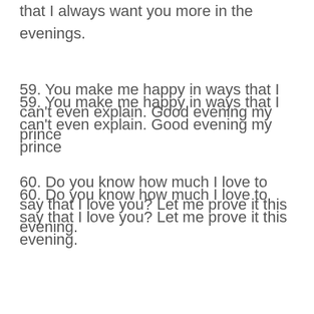that I always want you more in the evenings.
59. You make me happy in ways that I can't even explain. Good evening my prince
60. Do you know how much I love to say that I love you? Let me prove it this evening.
61. I love the fact that you are my only prince. I love that you're mine always, good evening.
[Figure (screenshot): Advertisement banner showing Dulles store open hours 10AM-8PM at 45575 Dulles Eastern Plaza, Sui... with navigation arrow icon and play/close controls]